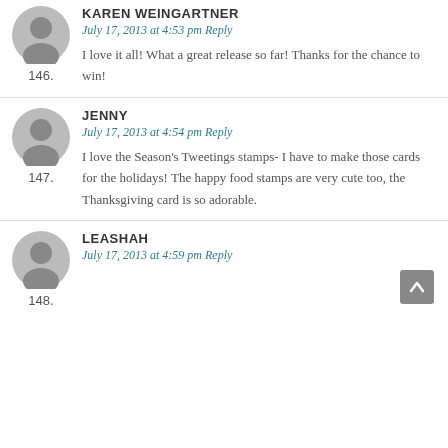146. KAREN WEINGARTNER — July 17, 2013 at 4:53 pm Reply — I love it all! What a great release so far! Thanks for the chance to win!
147. JENNY — July 17, 2013 at 4:54 pm Reply — I love the Season's Tweetings stamps- I have to make those cards for the holidays! The happy food stamps are very cute too, the Thanksgiving card is so adorable.
148. LEASHAH — July 17, 2013 at 4:59 pm Reply